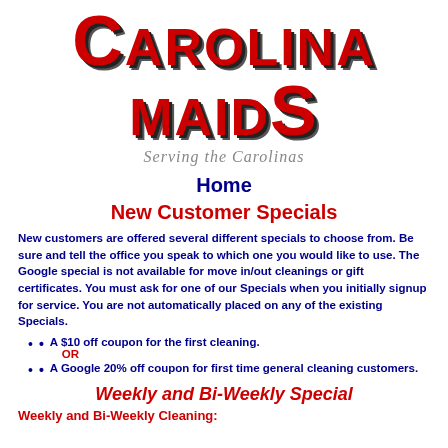[Figure (logo): Carolina Maids logo with large red block letters and tagline 'Serving the Carolinas' in gray italic script]
Home
New Customer Specials
New customers are offered several different specials to choose from. Be sure and tell the office you speak to which one you would like to use. The Google special is not available for move in/out cleanings or gift certificates. You must ask for one of our Specials when you initially signup for service. You are not automatically placed on any of the existing Specials.
A $10 off coupon for the first cleaning.
OR
A Google 20% off coupon for first time general cleaning customers.
Weekly and Bi-Weekly Special
Weekly and Bi-Weekly Cleaning: